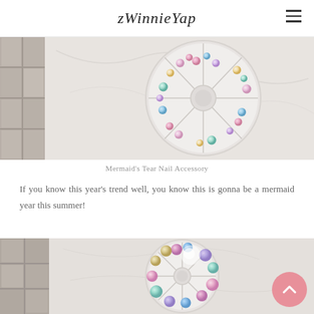zWinnieYap
[Figure (photo): Overhead photo of a circular nail accessory wheel containing iridescent mermaid-style pearls in pink, blue, and white tones, placed on a white marble surface next to white ceramic tiles.]
Mermaid's Tear Nail Accessory
If you know this year's trend well, you know this is gonna be a mermaid year this summer!
[Figure (photo): Close-up photo of a circular nail accessory wheel with larger iridescent holographic pearls in pink, blue and lavender tones on a marble surface with ceramic tiles visible. A pink circular scroll-to-top button overlays the bottom right corner.]